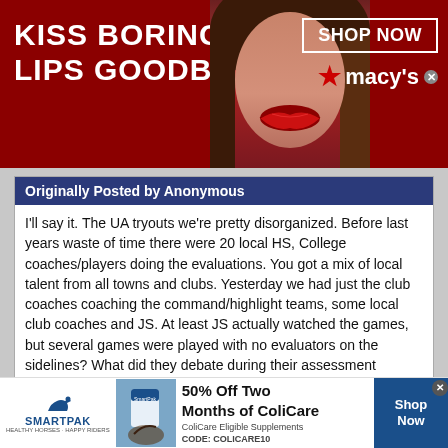[Figure (photo): Macy's advertisement banner: red background with 'KISS BORING LIPS GOODBYE' text, woman with red lips, SHOP NOW button and Macy's logo]
Originally Posted by Anonymous
I'll say it. The UA tryouts we're pretty disorganized. Before last years waste of time there were 20 local HS, College coaches/players doing the evaluations. You got a mix of local talent from all towns and clubs. Yesterday we had just the club coaches coaching the command/highlight teams, some local club coaches and JS. At least JS actually watched the games, but several games were played with no evaluators on the sidelines? What did they debate during their assessment period? This was not as bad as the American Select or NY regional tryouts but pretty bad. The only thing these event organizers do well is take our money. Great concepts with big name
[Figure (photo): SmartPak advertisement: horse logo, 50% Off Two Months of ColiCare, ColiCare Eligible Supplements, CODE: COLICARE10, Shop Now button]